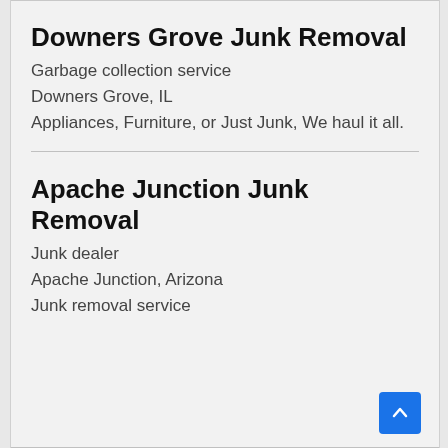Downers Grove Junk Removal
Garbage collection service
Downers Grove, IL
Appliances, Furniture, or Just Junk, We haul it all.
Apache Junction Junk Removal
Junk dealer
Apache Junction, Arizona
Junk removal service